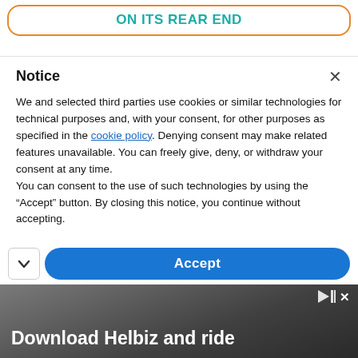SCAVENGING INSECT WITH PINCERS ON ITS REAR END
Notice
We and selected third parties use cookies or similar technologies for technical purposes and, with your consent, for other purposes as specified in the cookie policy. Denying consent may make related features unavailable. You can freely give, deny, or withdraw your consent at any time.
You can consent to the use of such technologies by using the “Accept” button. By closing this notice, you continue without accepting.
[Figure (screenshot): Blue Accept button with rounded corners and a chevron/arrow down icon on the left side]
[Figure (photo): Advertisement banner showing 'Download Helbiz and ride' text over a blurred image of a scooter handlebar]